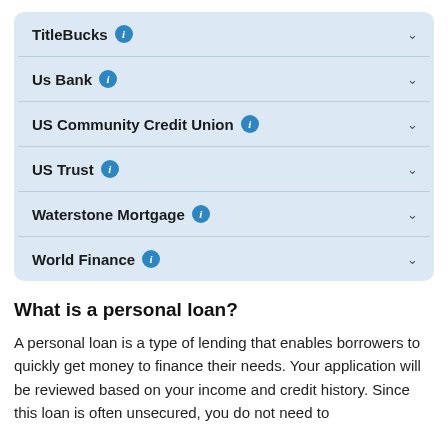TitleBucks
Us Bank
US Community Credit Union
US Trust
Waterstone Mortgage
World Finance
What is a personal loan?
A personal loan is a type of lending that enables borrowers to quickly get money to finance their needs. Your application will be reviewed based on your income and credit history. Since this loan is often unsecured, you do not need to